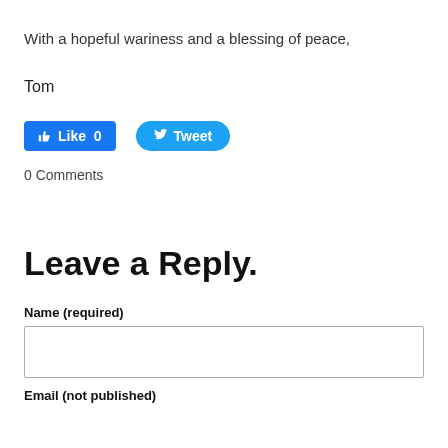With a hopeful wariness and a blessing of peace,
Tom
[Figure (screenshot): Facebook Like button showing count 0 and Twitter Tweet button]
0 Comments
Leave a Reply.
Name (required)
Email (not published)